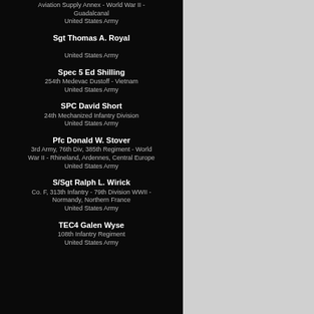Aviation Supply Annex - World War II - Guadalcanal
United States Army
Sgt Thomas A. Royal
United States Army
Spec 5 Ed Shilling
254th Medevac Dustoff - Vietnam
United States Army
SPC David Short
24th Mechanized Infantry Division
United States Army
Pfc Donald W. Stover
3rd Army, 76th Div, 385th Regiment - World War II - Rhineland, Ardennes, Central Europe
United States Army
S/Sgt Ralph L. Wirick
Co. F, 313th Infantry - 79th Division WWII - Normandy, Northern France
United States Army
TEC4 Galen Wyse
108th Infantry Regiment
United States Army